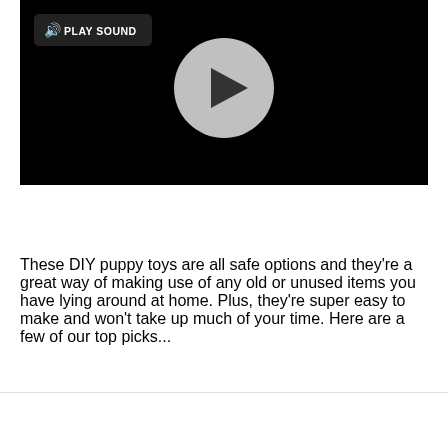[Figure (screenshot): A video player with a black background. On the top-left there is a 'PLAY SOUND' button with a speaker icon. In the center there is a gray circular play button with a dark play triangle.]
These DIY puppy toys are all safe options and they're a great way of making use of any old or unused items you have lying around at home. Plus, they're super easy to make and won't take up much of your time. Here are a few of our top picks...